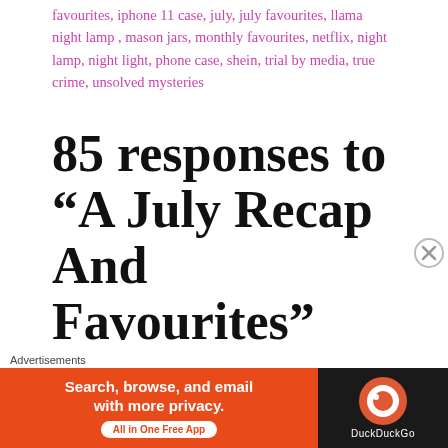favourites, iphone 11 case, july, july favourites, llama night lamp , mason jars, monthly favourites, netflix, night lamp, night light, phone case, shein, trial by media, true crime, unsolved mysteries
85 responses to “A July Recap And Favourites”
[Figure (illustration): Small avatar icon of a green bottle/bag character]
OhSoViki
July 30, 2020 at 11:40 pm
[Figure (screenshot): DuckDuckGo advertisement banner: orange section with 'Search, browse, and email with more privacy. All in One Free App' and dark section with DuckDuckGo logo]